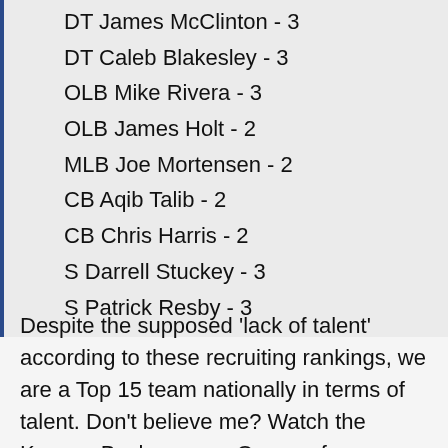DT James McClinton - 3
DT Caleb Blakesley - 3
OLB Mike Rivera - 3
OLB James Holt - 2
MLB Joe Mortensen - 2
CB Aqib Talib - 2
CB Chris Harris - 2
S Darrell Stuckey - 3
S Patrick Resby - 3
Despite the supposed 'lack of talent' according to these recruiting rankings, we are a Top 15 team nationally in terms of talent. Don't believe me? Watch the Kansas-Baylor game. Or any of our non-conference games. Or Kansas-Kansas State, where we threw more talent out on the field than the supposed 'fastest defense in the Big 12'. Sure, Kansas State and Nebraska and Oklahoma and Texas will have more raw talent...